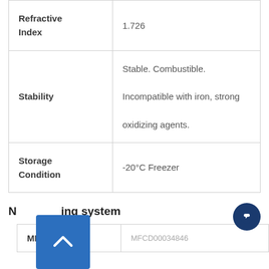| Property | Value |
| --- | --- |
| Refractive Index | 1.726 |
| Stability | Stable. Combustible. Incompatible with iron, strong oxidizing agents. |
| Storage Condition | -20°C Freezer |
Naming system
| MDL |  |
| --- | --- |
| MDL | MFCD00034846 |